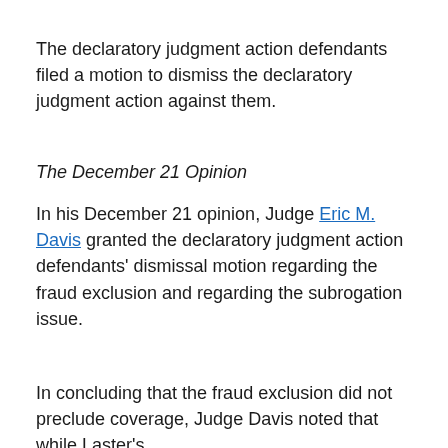The declaratory judgment action defendants filed a motion to dismiss the declaratory judgment action against them.
The December 21 Opinion
In his December 21 opinion, Judge Eric M. Davis granted the declaratory judgment action defendants' dismissal motion regarding the fraud exclusion and regarding the subrogation issue.
In concluding that the fraud exclusion did not preclude coverage, Judge Davis noted that while Laster's